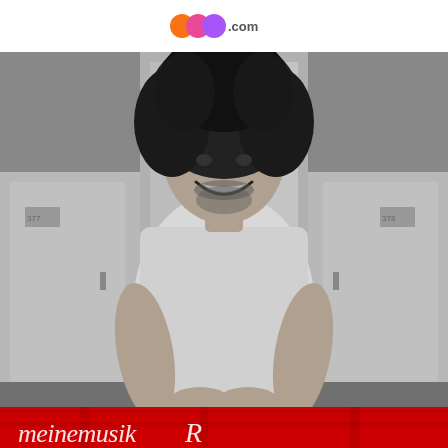BCFM.com logo
[Figure (photo): Black and white photograph of a young man with curly afro hair and a beard, smiling broadly. He is wearing a light-colored t-shirt and shorts, sitting cross-legged in front of what appears to be locker room doors/cubicles. At the bottom of the image is a red fabric element and a cursive 'meinemusik' logo/text overlay in white.]